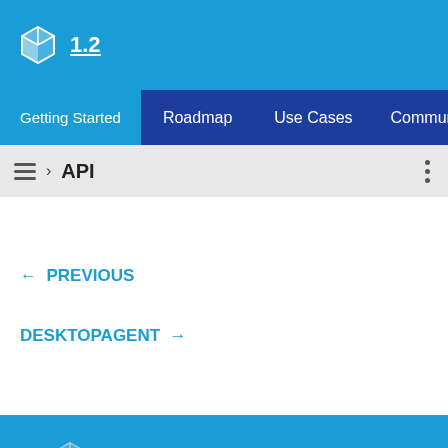1.2
Getting Started  Roadmap  Use Cases  Community  The Star
› API
← PREVIOUS
DESKTOPAGENT →